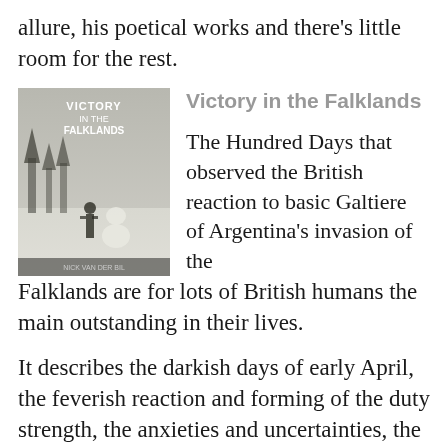allure, his poetical works and there's little room for the rest.
[Figure (photo): Book cover of 'Victory in the Falklands' showing a black and white snowy scene with a person and snowman]
Victory in the Falklands
The Hundred Days that observed the British reaction to basic Galtiere of Argentina's invasion of the Falklands are for lots of British humans the main outstanding in their lives.
It describes the darkish days of early April, the feverish reaction and forming of the duty strength, the anxieties and uncertainties, the naval and air battles that preceded the landings